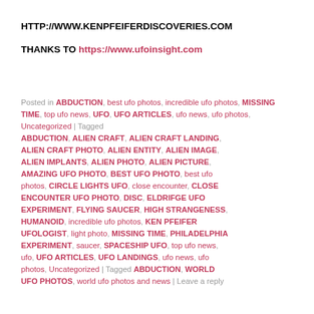HTTP://WWW.KENPFEIFERDISCOVERIES.COM
THANKS TO https://www.ufoinsight.com
Posted in ABDUCTION, best ufo photos, incredible ufo photos, MISSING TIME, top ufo news, UFO, UFO ARTICLES, ufo news, ufo photos, Uncategorized | Tagged ABDUCTION, ALIEN CRAFT, ALIEN CRAFT LANDING, ALIEN CRAFT PHOTO, ALIEN ENTITY, ALIEN IMAGE, ALIEN IMPLANTS, ALIEN PHOTO, ALIEN PICTURE, AMAZING UFO PHOTO, BEST UFO PHOTO, best ufo photos, CIRCLE LIGHTS UFO, close encounter, CLOSE ENCOUNTER UFO PHOTO, DISC, ELDRIFGE UFO EXPERIMENT, FLYING SAUCER, HIGH STRANGENESS, HUMANOID, incredible ufo photos, KEN PFEIFER UFOLOGIST, light photo, MISSING TIME, PHILADELPHIA EXPERIMENT, saucer, SPACESHIP UFO, top ufo news, ufo, UFO ARTICLES, UFO LANDINGS, ufo news, ufo photos, Uncategorized | Tagged ABDUCTION, WORLD UFO PHOTOS, world ufo photos and news | Leave a reply